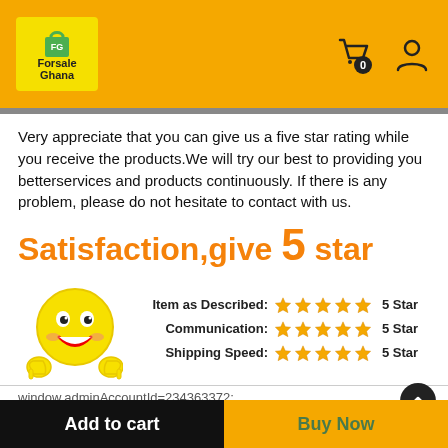[Figure (logo): Forsale Ghana logo in yellow box on orange header with shopping cart (badge 0) and user icon]
Very appreciate that you can give us a five star rating while you receive the products.We will try our best to providing you betterservices and products continuously. If there is any problem, please do not hesitate to contact with us.
Satisfaction,give 5 star
[Figure (illustration): Yellow smiley face emoji with thumbs up giving five star ratings: Item as Described 5 Star, Communication 5 Star, Shipping Speed 5 Star]
window.adminAccountId=234363372;
Add to cart | Buy Now